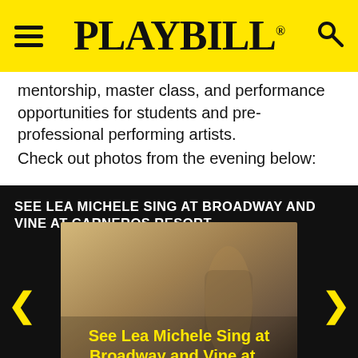PLAYBILL
mentorship, master class, and performance opportunities for students and pre-professional performing artists.
Check out photos from the evening below:
SEE LEA MICHELE SING AT BROADWAY AND VINE AT CARNEROS RESORT
[Figure (photo): Photo slideshow gallery showing Lea Michele at Broadway and Vine at Carneros Resort. Image shows a figure in warm golden/sunset lighting. Yellow navigation arrows on left and right sides. Overlay text reads 'See Lea Michele Sing at Broadway and Vine at...' in yellow, with '24 PHOTOS' below in white.]